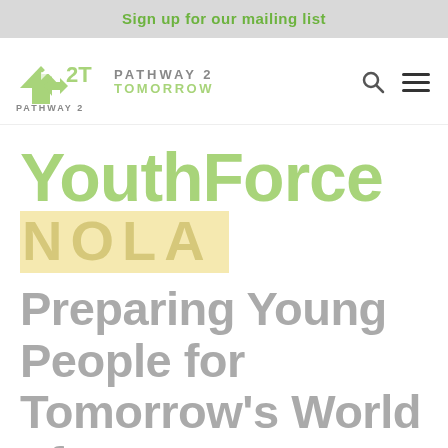Sign up for our mailing list
[Figure (logo): P2T Pathway 2 Tomorrow logo with green arrow icon and search/hamburger menu icons]
YouthForce NOLA
Preparing Young People for Tomorrow's World of Work